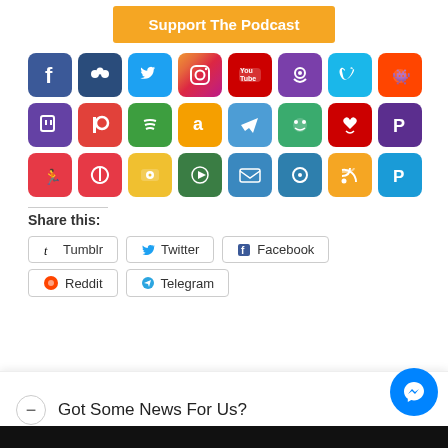Support The Podcast
[Figure (illustration): Grid of social media and podcast platform icon buttons in three rows: Row 1: Facebook, MySpace/Groups, Twitter, Instagram, YouTube, Podcast, Vimeo, Reddit. Row 2: Twitch, Patreon, Spotify, Amazon, Telegram, Frogger/Podcast app, iHeartRadio, PocketCasts. Row 3: Runkeeper, Crowdfire, Castbox, Podbay/Podcast player, Email, Overcast, RSS, PayPal.]
Share this:
Tumblr
Twitter
Facebook
Reddit
Telegram
Got Some News For Us?